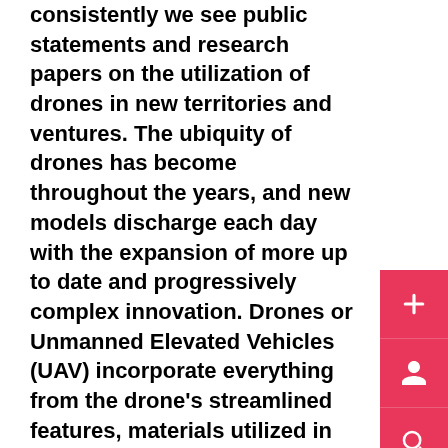consistently we see public statements and research papers on the utilization of drones in new territories and ventures. The ubiquity of drones has become throughout the years, and new models discharge each day with the expansion of more up to date and progressively complex innovation. Drones or Unmanned Elevated Vehicles (UAV) incorporate everything from the drone's streamlined features, materials utilized in the assembling of the UAV, the chipset, circuit sheets and programming utilized in the dro...
What are Drones?
Drones or an Unmanned Elevated Vehicle is a